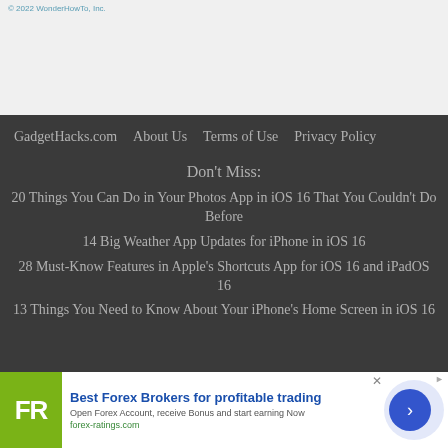© 2022 WonderHowTo, Inc.
GadgetHacks.com  About Us  Terms of Use  Privacy Policy
Don't Miss:
20 Things You Can Do in Your Photos App in iOS 16 That You Couldn't Do Before
14 Big Weather App Updates for iPhone in iOS 16
28 Must-Know Features in Apple's Shortcuts App for iOS 16 and iPadOS 16
13 Things You Need to Know About Your iPhone's Home Screen in iOS 16
[Figure (infographic): Advertisement banner for Best Forex Brokers for profitable trading by forex-ratings.com with FR logo and a blue arrow CTA button]